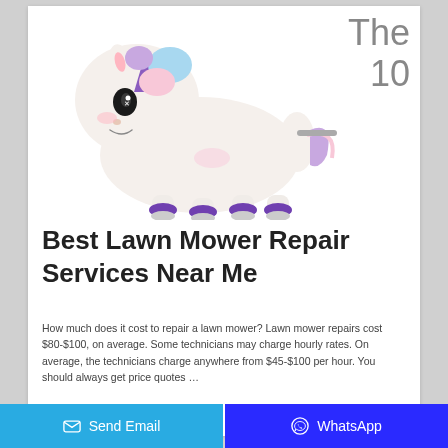[Figure (photo): A white stuffed unicorn toy with purple horn, purple hooves, and pastel rainbow mane, mounted on small wheels/rollers]
The
10
Best Lawn Mower Repair Services Near Me
How much does it cost to repair a lawn mower? Lawn mower repairs cost $80-$100, on average. Some technicians may charge hourly rates. On average, the technicians charge anywhere from $45-$100 per hour. You should always get price quotes …
Send Email | WhatsApp